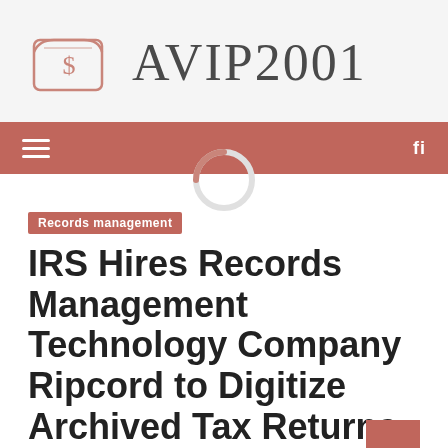[Figure (logo): AVIP2001 website logo with a stylized book/wallet icon with a dollar sign, and the text AVIP2001 in large serif font]
≡   fl
Records management
IRS Hires Records Management Technology Company Ripcord to Digitize Archived Tax Returns in Technology